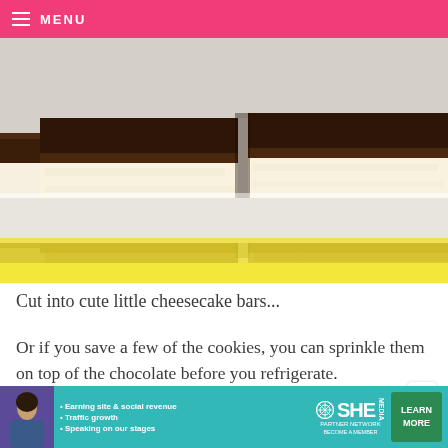MENU
[Figure (photo): Layered cheesecake bars cut into squares showing layers: chocolate top, creamy white cheesecake middle, and chocolate cookie crust bottom, arranged on a white surface]
Cut into cute little cheesecake bars...
Or if you save a few of the cookies, you can sprinkle them on top of the chocolate before you refrigerate.
[Figure (infographic): SHE Partner Network advertisement banner with woman photo, bullet points: Earning site & social revenue, Traffic growth, Speaking on our stages, with LEARN MORE button]